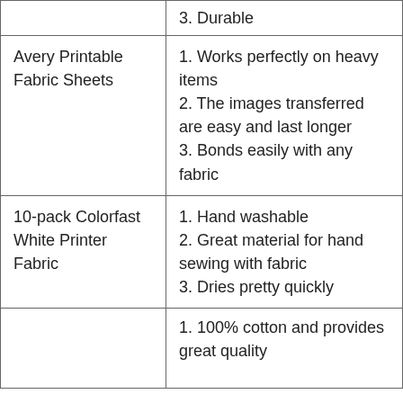| Product | Features |
| --- | --- |
|  | 3. Durable |
| Avery Printable Fabric Sheets | 1. Works perfectly on heavy items
2. The images transferred are easy and last longer
3. Bonds easily with any fabric |
| 10-pack Colorfast White Printer Fabric | 1. Hand washable
2. Great material for hand sewing with fabric
3. Dries pretty quickly |
|  | 1. 100% cotton and provides great quality |